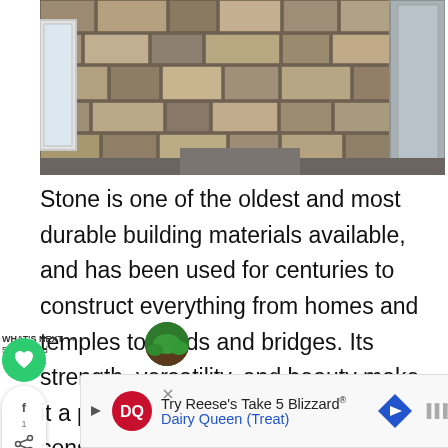[Figure (photo): Stone wall exterior of a building showing rough-cut natural stone masonry. A white window frame is visible on the left side and a grey door frame on the right. The stones are irregularly shaped in shades of tan, grey, and brown with mortar joints.]
Stone is one of the oldest and most durable building materials available, and has been used for centuries to construct everything from homes and temples to roads and bridges. Its strength, versatility, and beauty make it a popular choice for both new construction and renovation projects.
[Figure (other): Advertisement banner: Try Reese's Take 5 Blizzard® Dairy Queen (Treat) with DQ logo and navigation arrow]